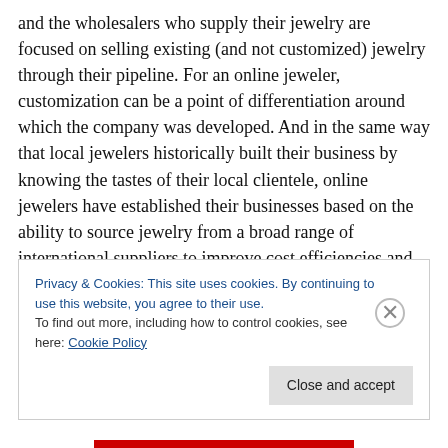and the wholesalers who supply their jewelry are focused on selling existing (and not customized) jewelry through their pipeline. For an online jeweler, customization can be a point of differentiation around which the company was developed. And in the same way that local jewelers historically built their business by knowing the tastes of their local clientele, online jewelers have established their businesses based on the ability to source jewelry from a broad range of international suppliers to improve cost efficiencies and create product differentiation.
Privacy & Cookies: This site uses cookies. By continuing to use this website, you agree to their use. To find out more, including how to control cookies, see here: Cookie Policy
Close and accept